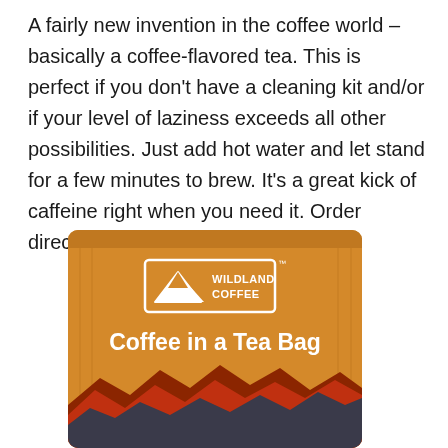A fairly new invention in the coffee world – basically a coffee-flavored tea. This is perfect if you don't have a cleaning kit and/or if your level of laziness exceeds all other possibilities. Just add hot water and let stand for a few minutes to brew. It's a great kick of caffeine right when you need it. Order directly from Wildland Coffee.
[Figure (photo): Product image of Wildland Coffee 'Coffee in a Tea Bag' packet – an amber/golden colored single-serve tea-bag style coffee packet with mountain graphic design, white Wildland Coffee logo at top, and bold white text reading 'Coffee in a Tea Bag'. Mountain silhouette layers in red, dark red, and dark gray/charcoal at the bottom.]